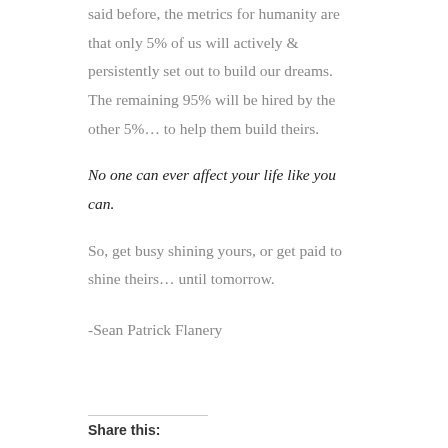said before, the metrics for humanity are that only 5% of us will actively & persistently set out to build our dreams.  The remaining 95% will be hired by the other 5%… to help them build theirs.
No one can ever affect your life like you can.
So, get busy shining yours, or get paid to shine theirs… until tomorrow.
-Sean Patrick Flanery
Share this: